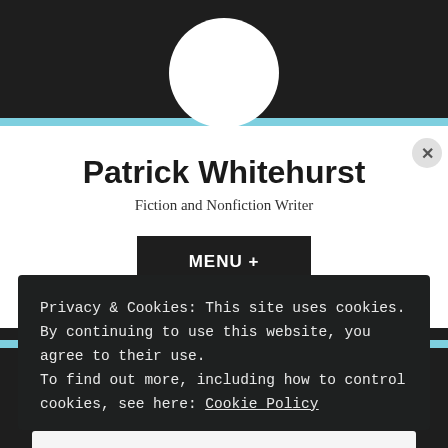Patrick Whitehurst
Fiction and Nonfiction Writer
MENU +
Privacy & Cookies: This site uses cookies. By continuing to use this website, you agree to their use. To find out more, including how to control cookies, see here: Cookie Policy
Close and accept